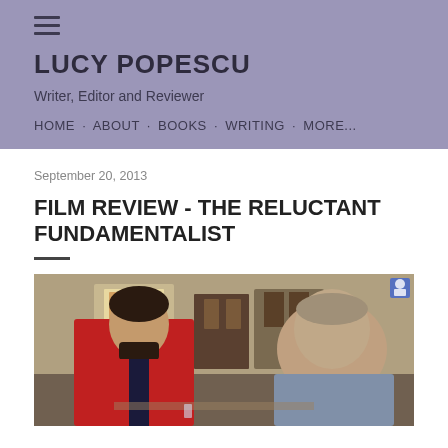≡ LUCY POPESCU
Writer, Editor and Reviewer
HOME · ABOUT · BOOKS · WRITING · MORE...
September 20, 2013
FILM REVIEW - THE RELUCTANT FUNDAMENTALIST
[Figure (photo): Two men in conversation at what appears to be an outdoor or semi-outdoor setting. The man on the left wears a red jacket and has a beard, facing right. The man on the right is heavier-set, wearing a grey top, facing left. Background shows aged building architecture with wooden doors and windows.]